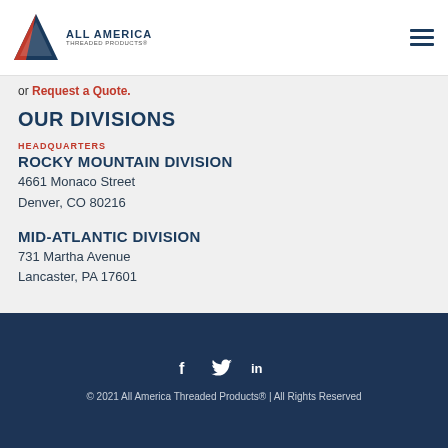[Figure (logo): All America Threaded Products logo with navigation hamburger menu]
or Request a Quote.
OUR DIVISIONS
HEADQUARTERS
ROCKY MOUNTAIN DIVISION
4661 Monaco Street
Denver, CO 80216
MID-ATLANTIC DIVISION
731 Martha Avenue
Lancaster, PA 17601
© 2021 All America Threaded Products® | All Rights Reserved